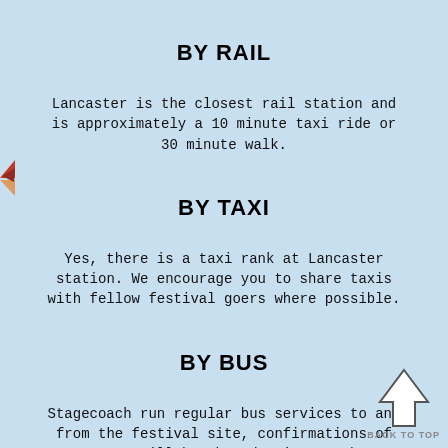BY RAIL
Lancaster is the closest rail station and is approximately a 10 minute taxi ride or 30 minute walk.
BY TAXI
Yes, there is a taxi rank at Lancaster station. We encourage you to share taxis with fellow festival goers where possible.
BY BUS
Stagecoach run regular bus services to and from the festival site, confirmations of routes will be shared prior to the festival.
[Figure (illustration): Red butterfly/bird decorative icon on left edge]
[Figure (illustration): White upward arrow icon with 'BACK TO TOP' text below in grey]